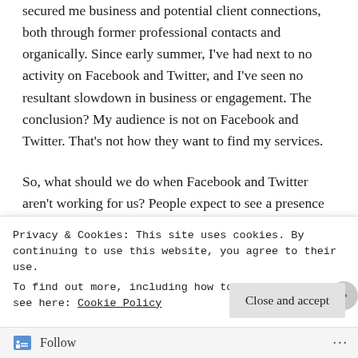secured me business and potential client connections, both through former professional contacts and organically. Since early summer, I've had next to no activity on Facebook and Twitter, and I've seen no resultant slowdown in business or engagement. The conclusion? My audience is not on Facebook and Twitter. That's not how they want to find my services.
So, what should we do when Facebook and Twitter aren't working for us? People expect to see a presence on these two channels so it seems a pity to close the accounts down, especially as they're up and running, and double-especially given the nature of my business. On the other
Privacy & Cookies: This site uses cookies. By continuing to use this website, you agree to their use.
To find out more, including how to control cookies, see here: Cookie Policy
Close and accept
Follow